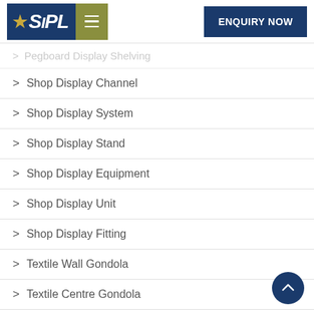[Figure (logo): SIPL company logo with blue background and gold star, followed by olive/green hamburger menu button]
ENQUIRY NOW
> Pegboard Display Shelving (partial, faded)
> Shop Display Channel
> Shop Display System
> Shop Display Stand
> Shop Display Equipment
> Shop Display Unit
> Shop Display Fitting
> Textile Wall Gondola
> Textile Centre Gondola
> Slatwall Gondola
> Alligator Bin